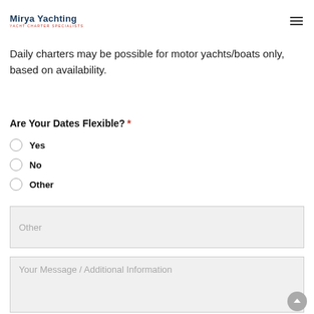Mirya Yachting — YACHT CHARTER SPECIALISTS
Daily charters may be possible for motor yachts/boats only, based on availability.
Are Your Dates Flexible? *
Yes
No
Other
Other (input field placeholder)
Your Message / Additional Information (textarea placeholder)